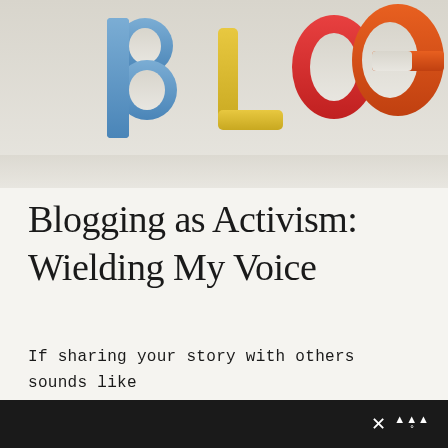[Figure (photo): Colorful plastic magnetic alphabet letters spelling BLOG on a light grey background. B is blue, L is yellow, O is red, G is orange.]
Blogging as Activism: Wielding My Voice
If sharing your story with others sounds like something you're interested in, you are welcome to the "blogging as activism" part of
× [mobile icon]